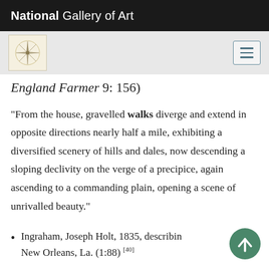National Gallery of Art
England Farmer 9: 156)
“From the house, gravelled walks diverge and extend in opposite directions nearly half a mile, exhibiting a diversified scenery of hills and dales, now descending a sloping declivity on the verge of a precipice, again ascending to a commanding plain, opening a scene of unrivalled beauty.”
Ingraham, Joseph Holt, 1835, describing New Orleans, La. (1:88) [40]